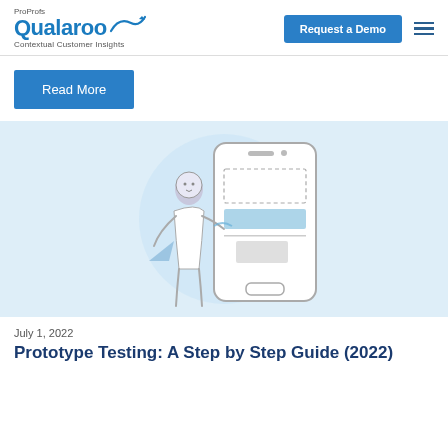ProProfs Qualaroo Contextual Customer Insights | Request a Demo
Read More
[Figure (illustration): Illustration of a person standing in front of a large smartphone screen on a light blue background, depicting prototype testing.]
July 1, 2022
Prototype Testing: A Step by Step Guide (2022)